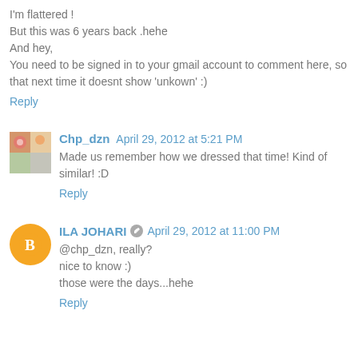I'm flattered !
But this was 6 years back .hehe
And hey,
You need to be signed in to your gmail account to comment here, so that next time it doesnt show 'unkown' :)
Reply
Chp_dzn  April 29, 2012 at 5:21 PM
Made us remember how we dressed that time! Kind of similar! :D
Reply
ILA JOHARI  April 29, 2012 at 11:00 PM
@chp_dzn, really?
nice to know :)
those were the days...hehe
Reply